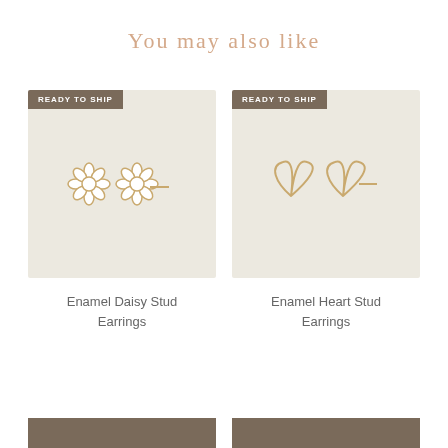You may also like
[Figure (photo): Enamel daisy stud earrings on beige card background with 'READY TO SHIP' badge]
Enamel Daisy Stud Earrings
[Figure (photo): Enamel heart stud earrings on beige card background with 'READY TO SHIP' badge]
Enamel Heart Stud Earrings